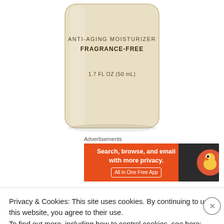[Figure (photo): Partial view of a skincare product bottle (anti-aging moisturizer, fragrance-free, 1.7 FL OZ / 50 mL) in a beige/gold container against white background]
Advertisements
[Figure (screenshot): DuckDuckGo advertisement banner: 'Search, browse, and email with more privacy. All in One Free App' with duck logo on orange and dark background]
Tarte Maracuja Oil: I haven't done a skin care post
Privacy & Cookies: This site uses cookies. By continuing to use this website, you agree to their use.
To find out more, including how to control cookies, see here: Cookie Policy
Close and accept